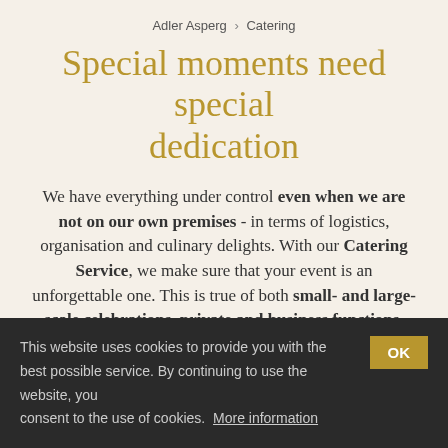Adler Asperg › Catering
Special moments need special dedication
We have everything under control even when we are not on our own premises - in terms of logistics, organisation and culinary delights. With our Catering Service, we make sure that your event is an unforgettable one. This is true of both small- and large-scale celebrations, private and business functions. Whether a birthday, christening or wedding, anniversary celebration, Christmas party or several-day event: our long-standing, dedicated catering team is available to
This website uses cookies to provide you with the best possible service. By continuing to use the website, you consent to the use of cookies. More information